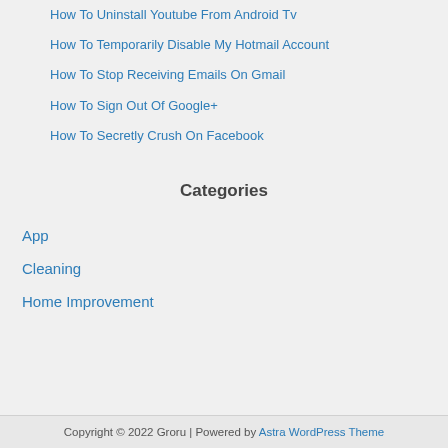How To Uninstall Youtube From Android Tv
How To Temporarily Disable My Hotmail Account
How To Stop Receiving Emails On Gmail
How To Sign Out Of Google+
How To Secretly Crush On Facebook
Categories
App
Cleaning
Home Improvement
Copyright © 2022 Groru | Powered by Astra WordPress Theme